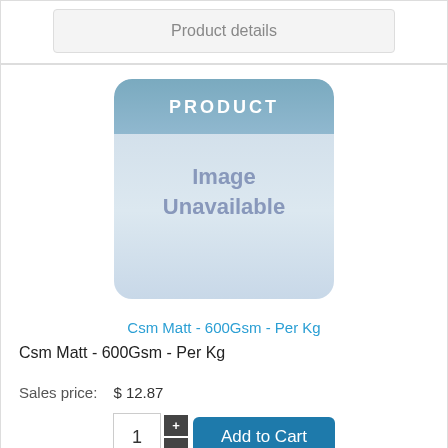Product details
[Figure (illustration): Product image unavailable placeholder with blue header saying PRODUCT and gray text Image Unavailable]
Csm Matt - 600Gsm - Per Kg
Csm Matt - 600Gsm - Per Kg
Sales price:   $ 12.87
1  + -  Add to Cart
Product details